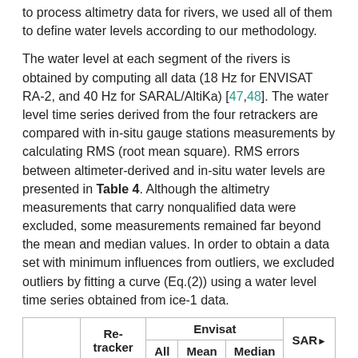to process altimetry data for rivers, we used all of them to define water levels according to our methodology.
The water level at each segment of the rivers is obtained by computing all data (18 Hz for ENVISAT RA-2, and 40 Hz for SARAL/AltiKa) [47,48]. The water level time series derived from the four retrackers are compared with in-situ gauge stations measurements by calculating RMS (root mean square). RMS errors between altimeter-derived and in-situ water levels are presented in Table 4. Although the altimetry measurements that carry nonqualified data were excluded, some measurements remained far beyond the mean and median values. In order to obtain a data set with minimum influences from outliers, we excluded outliers by fitting a curve (Eq.(2)) using a water level time series obtained from ice-1 data.
| Station | Re-tracker | Envisat All | Envisat Mean | Envisat Median | SAR All |
| --- | --- | --- | --- | --- | --- |
|  | H-Ocean | 88 | 91 | 58 | 124 |